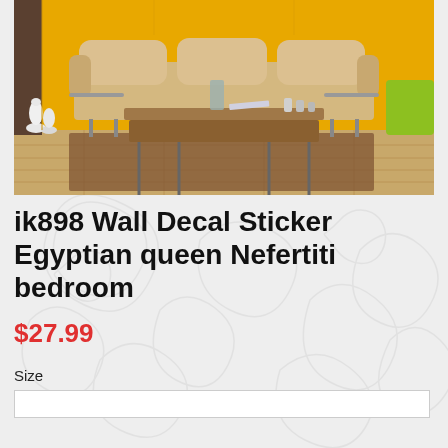[Figure (photo): A living room scene with a beige three-seat sofa, a wooden coffee table with green flowers in a glass vase, a bright yellow wall, white decorative vases on the left, a green accent table on the right, and wood flooring.]
ik898 Wall Decal Sticker Egyptian queen Nefertiti bedroom
$27.99
Size